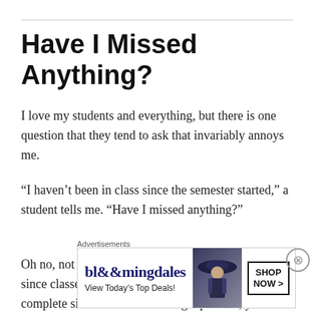Have I Missed Anything?
I love my students and everything, but there is one question that they tend to ask that invariably annoys me.
“I haven’t been in class since the semester started,” a student tells me. “Have I missed anything?”
Oh no, not at all. These five lectures we have had since classes started? We just twiddled our thumbs in complete silence. That’s what I get paid for, you know. For not communicating anything of importance to the
Advertisements
[Figure (other): Bloomingdale's advertisement banner: 'bloomingdales / View Today’s Top Deals!' with a woman wearing a large hat and a 'SHOP NOW >' button]